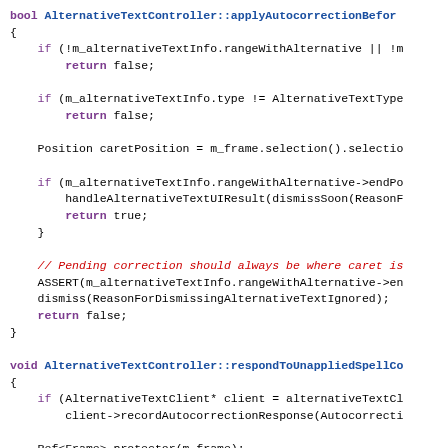[Figure (screenshot): Source code snippet showing C++ methods AlternativeTextController::applyAutocorrectionBefore and AlternativeTextController::respondToUnappliedSpellCo with syntax highlighting: keywords in purple/bold, function names in blue/bold, comments in red italic, regular code in black monospace.]